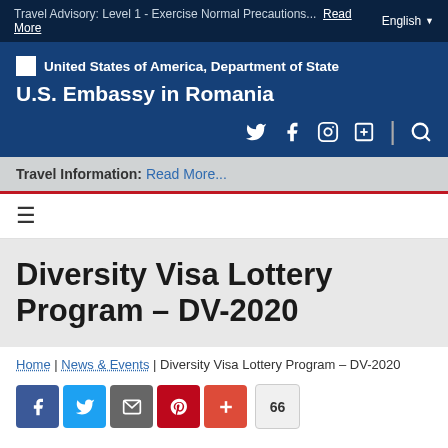Travel Advisory: Level 1 - Exercise Normal Precautions...  Read More  English
[Figure (logo): United States of America, Department of State logo and U.S. Embassy in Romania header with social media icons (Twitter, Facebook, Instagram, plus, search)]
Travel Information: Read More...
≡ (hamburger menu icon)
Diversity Visa Lottery Program – DV-2020
Home | News & Events | Diversity Visa Lottery Program – DV-2020
Share buttons: Facebook, Twitter, Email, Pinterest, Plus | 66